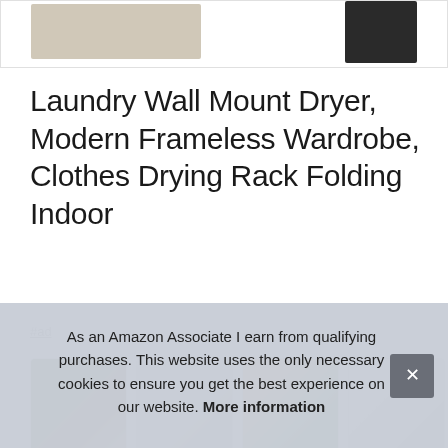[Figure (photo): Partial product images at top: a light-colored item on left and a dark black box on right]
Laundry Wall Mount Dryer, Modern Frameless Wardrobe, Clothes Drying Rack Folding Indoor
#ad
[Figure (photo): Four product thumbnail images showing various laundry rack and wardrobe products]
PGC
grea...
As an Amazon Associate I earn from qualifying purchases. This website uses the only necessary cookies to ensure you get the best experience on our website. More information